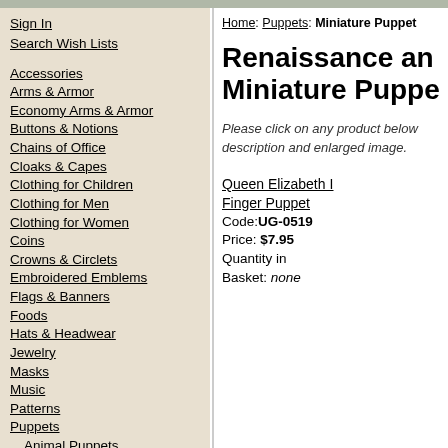Sign In | Search Wish Lists
Accessories
Arms & Armor
Economy Arms & Armor
Buttons & Notions
Chains of Office
Cloaks & Capes
Clothing for Children
Clothing for Men
Clothing for Women
Coins
Crowns & Circlets
Embroidered Emblems
Flags & Banners
Foods
Hats & Headwear
Jewelry
Masks
Music
Patterns
Puppets
Animal Puppets
Mythical Creature Puppets
Character Puppets
Miniature Puppets
Shoes & Boots
Stationery
Home: Puppets: Miniature Puppet
Renaissance and Miniature Puppet
Please click on any product below description and enlarged image.
Queen Elizabeth I Finger Puppet
Code: UG-0519
Price: $7.95
Quantity in Basket: none